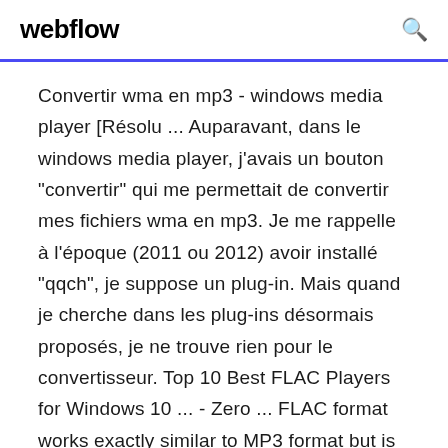webflow
Convertir wma en mp3 - windows media player [Résolu ... Auparavant, dans le windows media player, j'avais un bouton "convertir" qui me permettait de convertir mes fichiers wma en mp3. Je me rappelle à l'époque (2011 ou 2012) avoir installé "qqch", je suppose un plug-in. Mais quand je cherche dans les plug-ins désormais proposés, je ne trouve rien pour le convertisseur. Top 10 Best FLAC Players for Windows 10 ... - Zero ... FLAC format works exactly similar to MP3 format but is completely lossless which means that there In case if you are looking for some most powerful and best FLAC players for Windows 10 operating system